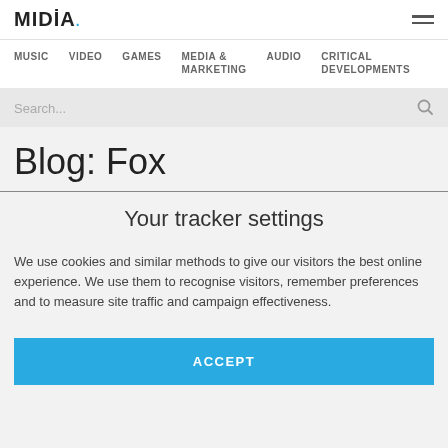MIDIA
MUSIC   VIDEO   GAMES   MEDIA & MARKETING   AUDIO   CRITICAL DEVELOPMENTS
Search...
Blog: Fox
Your tracker settings
We use cookies and similar methods to give our visitors the best online experience. We use them to recognise visitors, remember preferences and to measure site traffic and campaign effectiveness.
ACCEPT